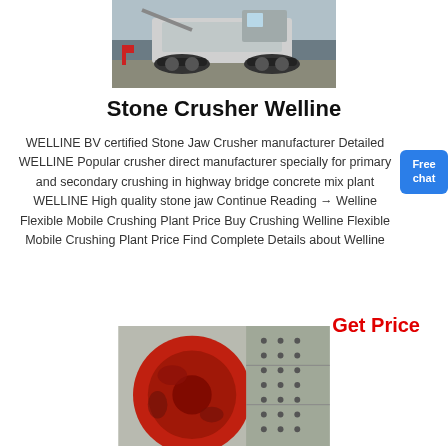[Figure (photo): Mobile stone crusher machine on tracks, industrial equipment photo]
Stone Crusher Welline
WELLINE BV certified Stone Jaw Crusher manufacturer Detailed WELLINE Popular crusher direct manufacturer specially for primary and secondary crushing in highway bridge concrete mix plant WELLINE High quality stone jaw Continue Reading → Welline Flexible Mobile Crushing Plant Price Buy Crushing Welline Flexible Mobile Crushing Plant Price Find Complete Details about Welline
Get Price
[Figure (photo): Close-up photo of red and grey stone crusher machinery parts]